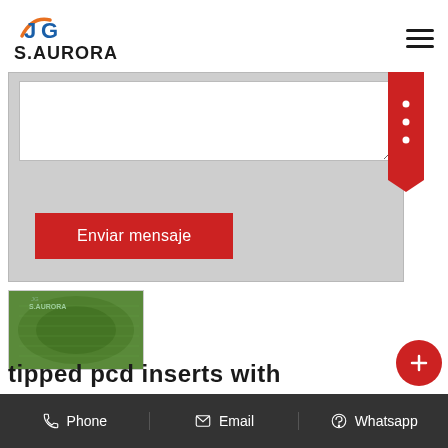[Figure (logo): JG / S.AURORA company logo with orange and blue icon]
[Figure (screenshot): Contact form with textarea and Enviar mensaje (Send message) button on gray background, with red bookmark tab on right side]
[Figure (photo): Product thumbnail showing green textured circular items with S.Aurora branding]
tipped pcd inserts with
Phone   Email   Whatsapp